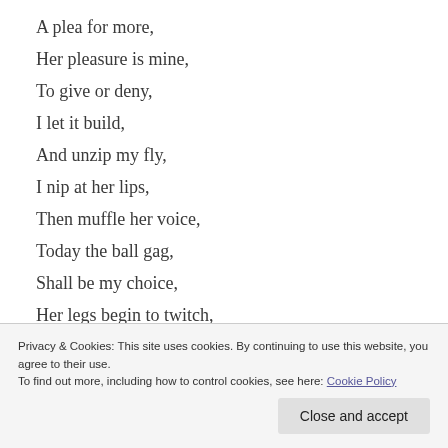A plea for more,
Her pleasure is mine,
To give or deny,
I let it build,
And unzip my fly,
I nip at her lips,
Then muffle her voice,
Today the ball gag,
Shall be my choice,
Her legs begin to twitch,
Her muffled gasps,
Privacy & Cookies: This site uses cookies. By continuing to use this website, you agree to their use.
To find out more, including how to control cookies, see here: Cookie Policy
Close and accept